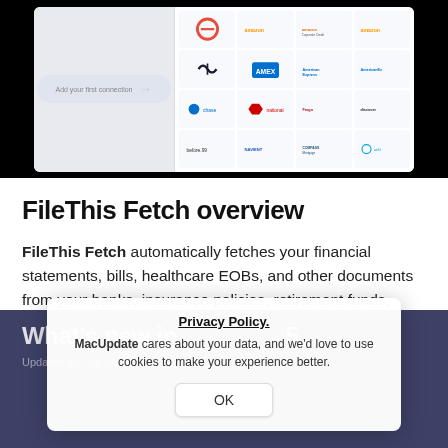[Figure (screenshot): Screenshot of FileThis Fetch application interface showing an arrow pointing to a grid of financial institution logos (Amazon, American Express, and other banks/services)]
FileThis Fetch overview
FileThis Fetch automatically fetches your financial statements, bills, healthcare EOBs, and other documents from your banks, insurance policies, retirement funds, credit cards and utilities. Only FileThis delivers your
Read more
What's new in 5
Updated on July 29, 2019
Privacy Policy.
MacUpdate cares about your data, and we'd love to use cookies to make your experience better.
OK